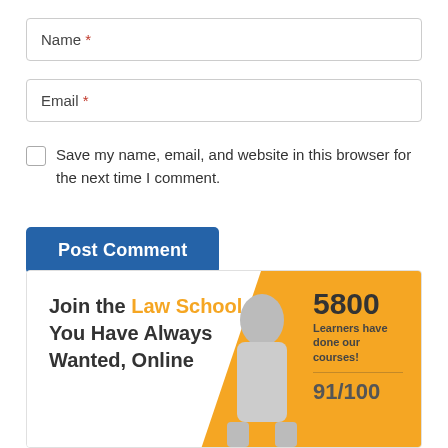Name *
Email *
Save my name, email, and website in this browser for the next time I comment.
Post Comment
[Figure (infographic): Law school advertisement banner showing 'Join the Law School You Have Always Wanted, Online' with a stat of 5800 Learners have done our courses! and a partial stat 91/100, a photo of a woman with curly hair and glasses on a yellow/orange background.]